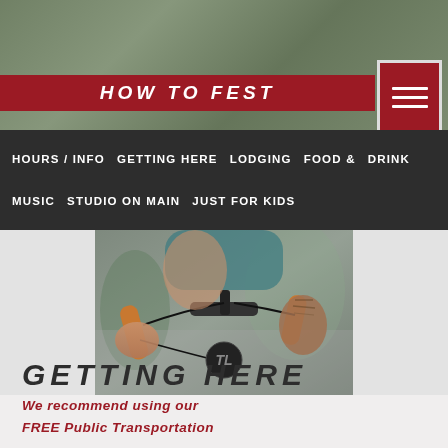[Figure (photo): Blurred outdoor/festival background image at top of page]
HOW TO FEST
HOURS / INFO  GETTING HERE  LODGING  FOOD & DRINK  MUSIC  STUDIO ON MAIN  JUST FOR KIDS
[Figure (photo): Close-up photo of a person riding a bicycle with orange handlebar tape and tattooed arm visible]
GETTING HERE
We recommend using our
FREE Public Transportation